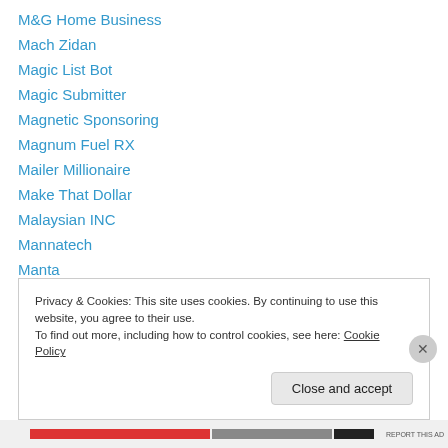M&G Home Business
Mach Zidan
Magic List Bot
Magic Submitter
Magnetic Sponsoring
Magnum Fuel RX
Mailer Millionaire
Make That Dollar
Malaysian INC
Mannatech
Manta
Mark Call
Market Glory
Privacy & Cookies: This site uses cookies. By continuing to use this website, you agree to their use.
To find out more, including how to control cookies, see here: Cookie Policy
Close and accept